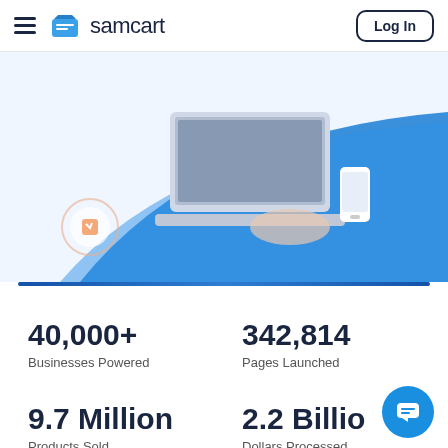samcart — Log In
[Figure (photo): Hero image showing a person working on a laptop with a blue swoosh graphic overlay and UI icons]
40,000+ Businesses Powered
342,814 Pages Launched
9.7 Million Products Sold
2.2 Billion Dollars Processed